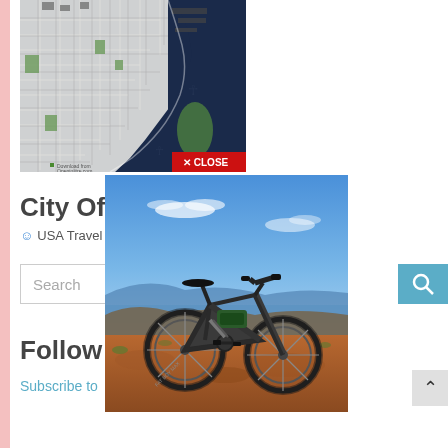[Figure (map): City map showing coastal area with dark blue water and green parks/land areas, grid street pattern, with a red CLOSE button overlay]
City Of M
USA Travel
Search
Follow
Subscribe to
[Figure (photo): Electric fat-tire mountain bike parked on red/brown rocky terrain with blue sky and ocean/mountains in the background]